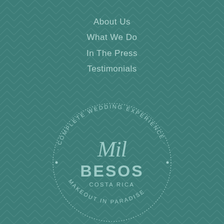About Us
What We Do
In The Press
Testimonials
[Figure (logo): Mil Besos Costa Rica circular logo with text 'Complete Wedding Experience · Makeout In Paradise ·' surrounding the brand name in a circle, with 'Mil' in script and 'BESOS' in bold, plus 'COSTA RICA' below]